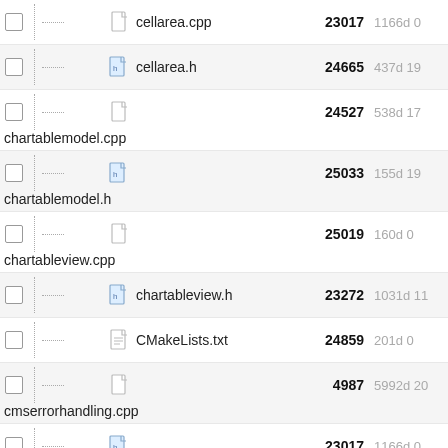cellarea.cpp  23017  1166d 0
cellarea.h  24665  437d 19
chartablemodel.cpp  24527  538d 17
chartablemodel.h  25033  155d 19
chartableview.cpp  25019  160d 0
chartableview.h  23272  1031d 11
CMakeLists.txt  24859  201d 0
cmserrorhandling.cpp  4987  5992d 20
cmserrorhandling.h  23017  1166d 0
cmsettings.cpp  23272  1031d 1
cmsettings.h  24719  320d 14
collapsedtablepainter.cpp  23060  1144d 2
collapsedtablepainter.h  23017  1166d 0